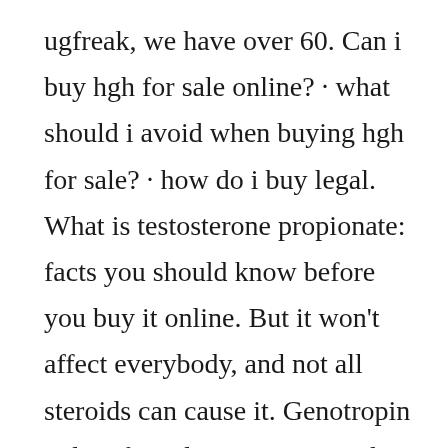ugfreak, we have over 60. Can i buy hgh for sale online? · what should i avoid when buying hgh for sale? · how do i buy legal. What is testosterone propionate: facts you should know before you buy it online. But it won't affect everybody, and not all steroids can cause it. Genotropin online for sale. Save time and money. Order pills online with cheap prices. In: buy apn hgh 120 tablets online at low price in india on amazon. Check out apn hgh 120 tablets reviews, ratings,